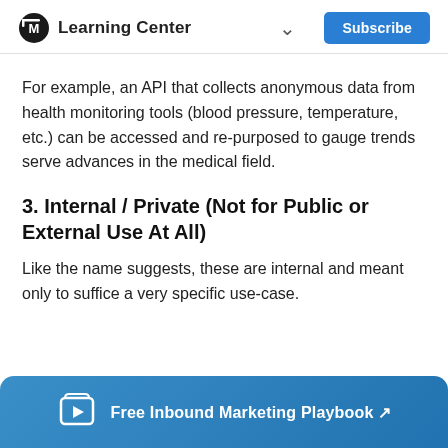Learning Center
For example, an API that collects anonymous data from health monitoring tools (blood pressure, temperature, etc.) can be accessed and re-purposed to gauge trends serve advances in the medical field.
3. Internal / Private (Not for Public or External Use At All)
Like the name suggests, these are internal and meant only to suffice a very specific use-case.
Free Inbound Marketing Playbook ↗